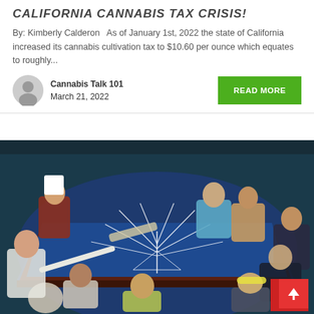CALIFORNIA CANNABIS TAX CRISIS!
By: Kimberly Calderon  As of January 1st, 2022 the state of California increased its cannabis cultivation tax to $10.60 per ounce which equates to roughly...
Cannabis Talk 101
March 21, 2022
[Figure (illustration): Painting showing diverse group of people gathered around a large blue table with a chalk drawing of a cannabis leaf on it. Various characters including a chef, engineers, professionals examining the design.]